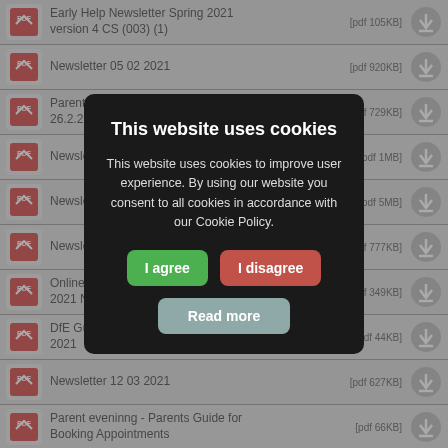Early Help Newsletter Spring 2021 version 4 CS (003) (1) [pdf 105KB]
Newsletter 05 02 2021 [pdf 920KB]
Parent Letter - return on March 8th - 26.2.21 [pdf 729KB]
Newsletter [pdf 1MB]
Newsletter [pdf 5MB]
Newsletter [pdf 777KB]
Online 2021 N [pdf 349KB]
DfE Gu 2021 [df 44KB]
Newsletter 12 03 2021 [pdf 627KB]
Parent eveninng - Parents Guide for Booking Appointments [pdf 66KB]
[Figure (screenshot): Cookie consent modal overlay on a school website file listing page. The modal has a dark background and contains the title 'This website uses cookies', body text explaining cookie usage, and three buttons: 'I agree' (green), 'I disagree' (red/pink), and 'Read more' (grey-blue).]
This website uses cookies
This website uses cookies to improve user experience. By using our website you consent to all cookies in accordance with our Cookie Policy.